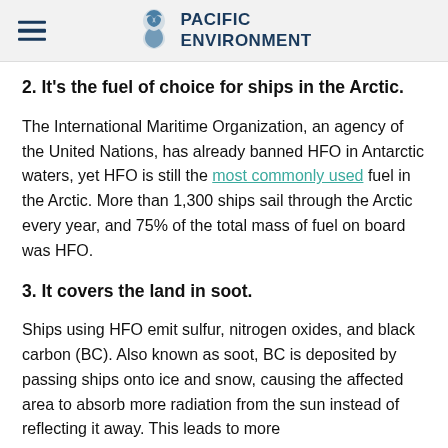PACIFIC ENVIRONMENT
2. It's the fuel of choice for ships in the Arctic.
The International Maritime Organization, an agency of the United Nations, has already banned HFO in Antarctic waters, yet HFO is still the most commonly used fuel in the Arctic. More than 1,300 ships sail through the Arctic every year, and 75% of the total mass of fuel on board was HFO.
3. It covers the land in soot.
Ships using HFO emit sulfur, nitrogen oxides, and black carbon (BC). Also known as soot, BC is deposited by passing ships onto ice and snow, causing the affected area to absorb more radiation from the sun instead of reflecting it away. This leads to more